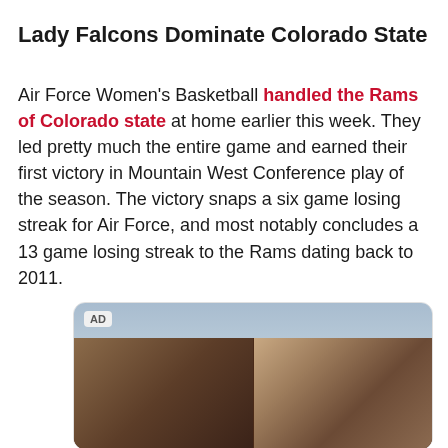Lady Falcons Dominate Colorado State
Air Force Women's Basketball handled the Rams of Colorado state at home earlier this week. They led pretty much the entire game and earned their first victory in Mountain West Conference play of the season. The victory snaps a six game losing streak for Air Force, and most notably concludes a 13 game losing streak to the Rams dating back to 2011.
[Figure (photo): Advertisement image showing two people carrying bags outdoors, with a sky background. An AD label appears in the top left corner.]